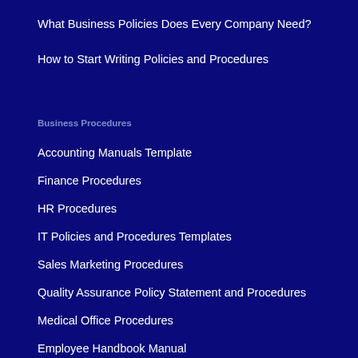What Business Policies Does Every Company Need?
How to Start Writing Policies and Procedures
Business Procedures
Accounting Manuals Template
Finance Procedures
HR Procedures
IT Policies and Procedures Templates
Sales Marketing Procedures
Quality Assurance Policy Statement and Procedures
Medical Office Procedures
Employee Handbook Manual